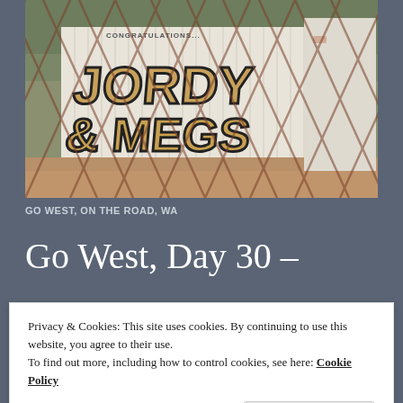[Figure (photo): Photo of a corrugated metal shed/container with graffiti reading 'JORDY & MEGS' in large tan/gold bubble letters with black outlines, photographed through a chain-link fence. Background shows red dirt ground and trees.]
GO WEST, ON THE ROAD, WA
Go West, Day 30 –
Privacy & Cookies: This site uses cookies. By continuing to use this website, you agree to their use.
To find out more, including how to control cookies, see here: Cookie Policy